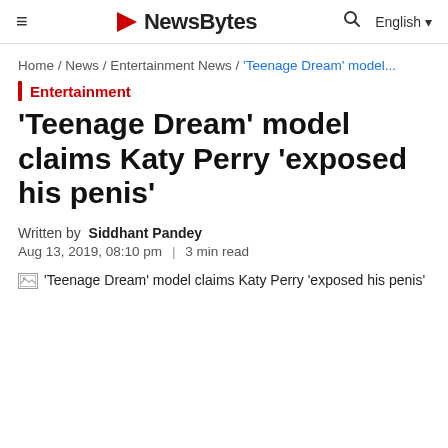≡  NewsByte  🔍  English ▾
Home / News / Entertainment News / 'Teenage Dream' model...
Entertainment
'Teenage Dream' model claims Katy Perry 'exposed his penis'
Written by Siddhant Pandey
Aug 13, 2019, 08:10 pm | 3 min read
'Teenage Dream' model claims Katy Perry 'exposed his penis'